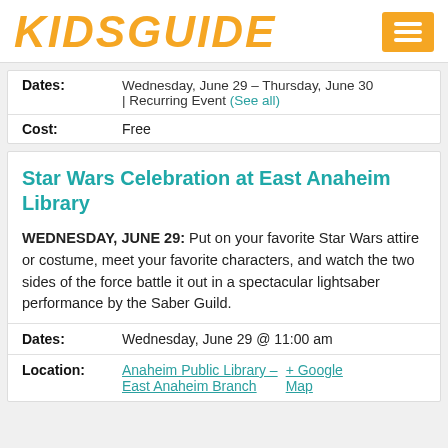KIDSGUIDE
Dates: Wednesday, June 29 – Thursday, June 30 | Recurring Event (See all)
Cost: Free
Star Wars Celebration at East Anaheim Library
WEDNESDAY, JUNE 29: Put on your favorite Star Wars attire or costume, meet your favorite characters, and watch the two sides of the force battle it out in a spectacular lightsaber performance by the Saber Guild.
Dates: Wednesday, June 29 @ 11:00 am
Location: Anaheim Public Library – East Anaheim Branch + Google Map